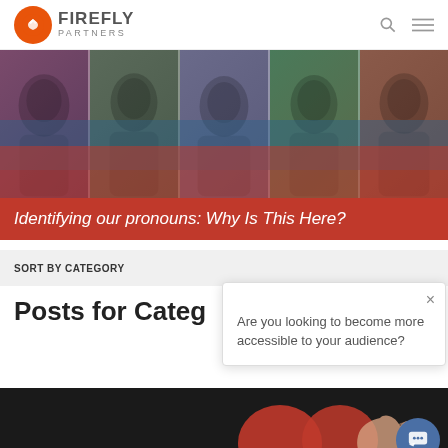FIREFLY PARTNERS
[Figure (photo): Collage of diverse people's faces with color overlays (purple, teal, blue tones) divided into 5 panels]
Identifying our pronouns: Why Is This Here?
SORT BY CATEGORY
Posts for Categ
Are you looking to become more accessible to your audience?
[Figure (photo): Partial view of hands reaching toward red heart shapes on dark background]